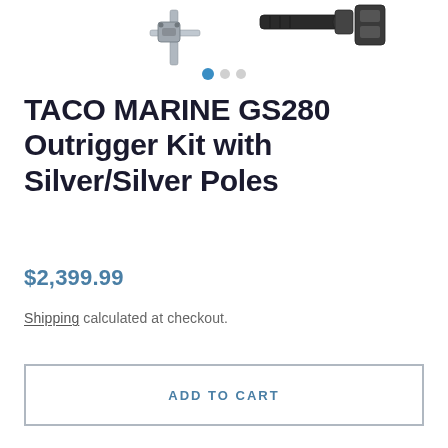[Figure (photo): Partial product image of TACO MARINE GS280 Outrigger Kit components (silver poles and mounting hardware) shown at top of page, cropped]
TACO MARINE GS280 Outrigger Kit with Silver/Silver Poles
$2,399.99
Shipping calculated at checkout.
ADD TO CART